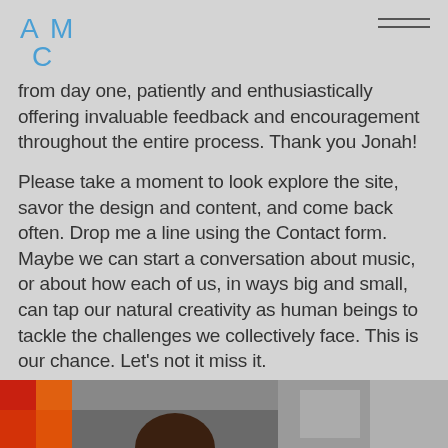[Figure (logo): ACMC logo in blue letters with stylized layout]
from day one, patiently and enthusiastically offering invaluable feedback and encouragement throughout the entire process. Thank you Jonah!
Please take a moment to look explore the site, savor the design and content, and come back often. Drop me a line using the Contact form. Maybe we can start a conversation about music, or about how each of us, in ways big and small, can tap our natural creativity as human beings to tackle the challenges we collectively face. This is our chance. Let's not it miss it.
Photo by Olli Tumelius
[Figure (photo): Bottom strip of three photos: abstract red/orange/yellow artwork on left, a person in middle, abstract artwork on right]